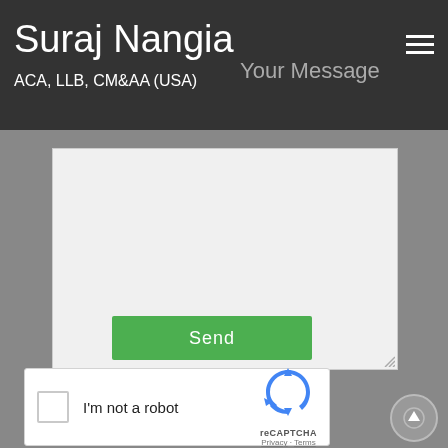Suraj Nangia ACA, LLB, CM&AA (USA)
Your Message
[Figure (screenshot): Empty text area input field for message composition]
Send
[Figure (other): reCAPTCHA widget with checkbox 'I'm not a robot' and reCAPTCHA logo with Privacy and Terms links]